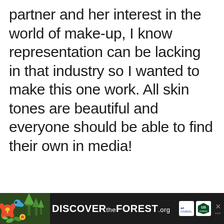partner and her interest in the world of make-up, I know representation can be lacking in that industry so I wanted to make this one work. All skin tones are beautiful and everyone should be able to find their own in media!
[Figure (infographic): Advertisement banner for DISCOVERtheFOREST.org with colorful flower/folk art on the left, bold white text in center, and Ad Council and US Forest Service logos on the right with a close button.]